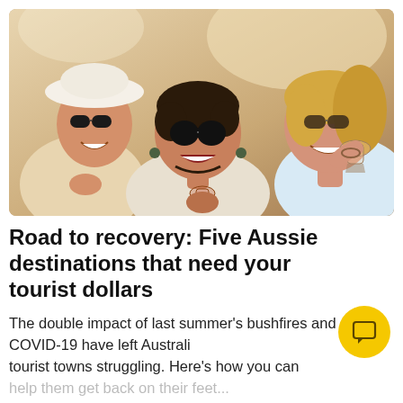[Figure (photo): Three women wearing sunglasses laughing and holding wine glasses outdoors in bright sunlight, celebrating together.]
Road to recovery: Five Aussie destinations that need your tourist dollars
The double impact of last summer's bushfires and COVID-19 have left Australia's tourist towns struggling. Here's how you can help them get back on their feet...